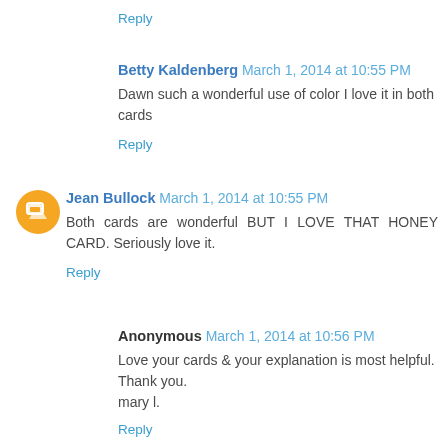Reply
Betty Kaldenberg  March 1, 2014 at 10:55 PM
Dawn such a wonderful use of color I love it in both cards
Reply
Jean Bullock  March 1, 2014 at 10:55 PM
Both cards are wonderful BUT I LOVE THAT HONEY CARD. Seriously love it.
Reply
Anonymous  March 1, 2014 at 10:56 PM
Love your cards & your explanation is most helpful.
Thank you.
mary l.
Reply